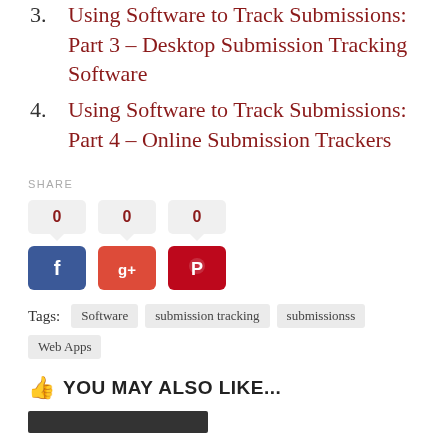3. Using Software to Track Submissions: Part 3 – Desktop Submission Tracking Software
4. Using Software to Track Submissions: Part 4 – Online Submission Trackers
SHARE
[Figure (infographic): Social share buttons for Facebook, Google+, and Pinterest, each showing a count of 0]
Tags: Software  submission tracking  submissionss  Web Apps
YOU MAY ALSO LIKE...